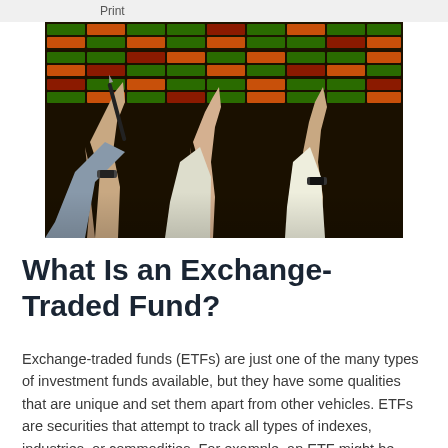Print
[Figure (photo): Traders raising hands on a stock exchange floor with colorful electronic ticker boards showing red, green, and orange price data in the background.]
What Is an Exchange-Traded Fund?
Exchange-traded funds (ETFs) are just one of the many types of investment funds available, but they have some qualities that are unique and set them apart from other vehicles. ETFs are securities that attempt to track all types of indexes, industries, or commodities. For example, an ETF might be made